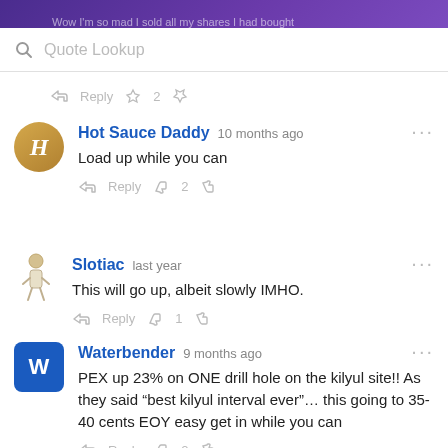Wow I'm so mad I sold all my shares I had bought
[Figure (screenshot): Quote Lookup search bar with magnifying glass icon]
Reply  2
Hot Sauce Daddy  10 months ago
Load up while you can
Reply  2
Slotiac  last year
This will go up, albeit slowly IMHO.
Reply  1
Waterbender  9 months ago
PEX up 23% on ONE drill hole on the kilyul site!! As they said “best kilyul interval ever”… this going to 35-40 cents EOY easy get in while you can
Reply  2